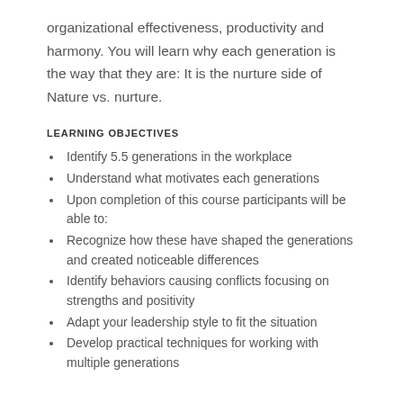organizational effectiveness, productivity and harmony. You will learn why each generation is the way that they are: It is the nurture side of Nature vs. nurture.
LEARNING OBJECTIVES
Identify 5.5 generations in the workplace
Understand what motivates each generations
Upon completion of this course participants will be able to:
Recognize how these have shaped the generations and created noticeable differences
Identify behaviors causing conflicts focusing on strengths and positivity
Adapt your leadership style to fit the situation
Develop practical techniques for working with multiple generations